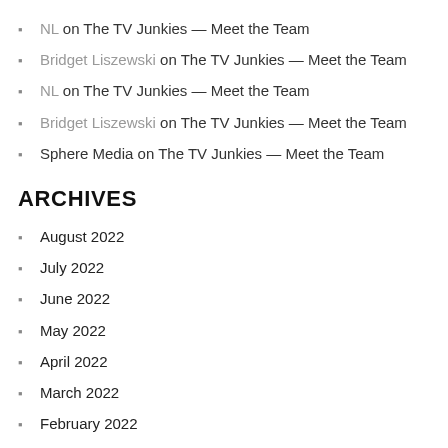NL on The TV Junkies — Meet the Team
Bridget Liszewski on The TV Junkies — Meet the Team
NL on The TV Junkies — Meet the Team
Bridget Liszewski on The TV Junkies — Meet the Team
Sphere Media on The TV Junkies — Meet the Team
ARCHIVES
August 2022
July 2022
June 2022
May 2022
April 2022
March 2022
February 2022
January 2022
November 2021